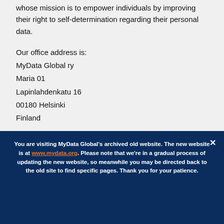whose mission is to empower individuals by improving their right to self-determination regarding their personal data.
Our office address is:
MyData Global ry
Maria 01
Lapinlahdenkatu 16
00180 Helsinki
Finland
You are visiting MyData Global's archived old website. The new website is at www.mydata.org. Please note that we're in a gradual process of updating the new website, so meanwhile you may be directed back to the old site to find specific pages. Thank you for your patience.